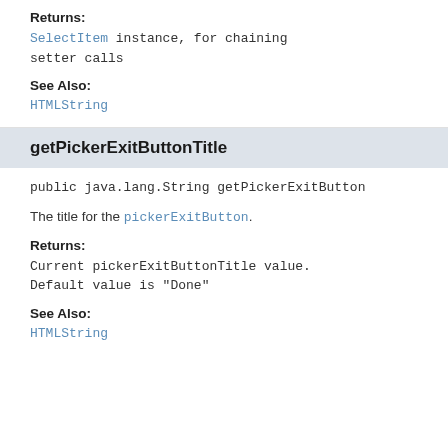Returns:
SelectItem instance, for chaining setter calls
See Also:
HTMLString
getPickerExitButtonTitle
public java.lang.String getPickerExitButton
The title for the pickerExitButton.
Returns:
Current pickerExitButtonTitle value. Default value is "Done"
See Also:
HTMLString